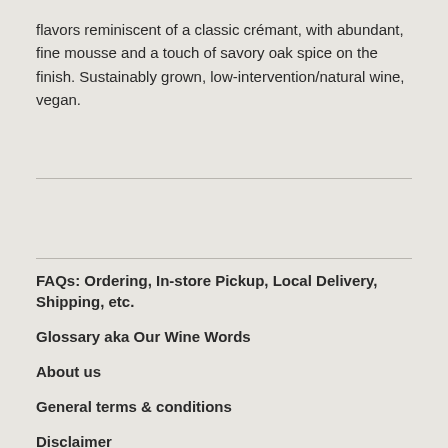flavors reminiscent of a classic crémant, with abundant, fine mousse and a touch of savory oak spice on the finish. Sustainably grown, low-intervention/natural wine, vegan.
FAQs: Ordering, In-store Pickup, Local Delivery, Shipping, etc.
Glossary aka Our Wine Words
About us
General terms & conditions
Disclaimer
Privacy policy